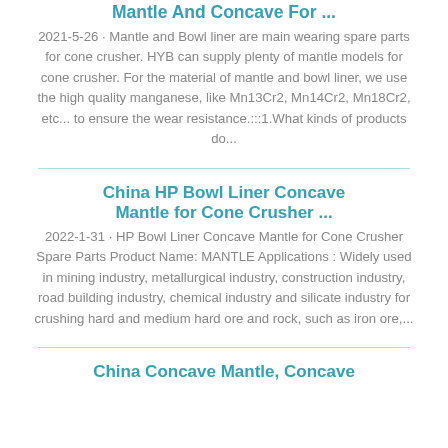Mantle And Concave For ...
2021-5-26 · Mantle and Bowl liner are main wearing spare parts for cone crusher. HYB can supply plenty of mantle models for cone crusher. For the material of mantle and bowl liner, we use the high quality manganese, like Mn13Cr2, Mn14Cr2, Mn18Cr2, etc... to ensure the wear resistance.:::1.What kinds of products do...
China HP Bowl Liner Concave Mantle for Cone Crusher ...
2022-1-31 · HP Bowl Liner Concave Mantle for Cone Crusher Spare Parts Product Name: MANTLE Applications : Widely used in mining industry, metallurgical industry, construction industry, road building industry, chemical industry and silicate industry for crushing hard and medium hard ore and rock, such as iron ore,...
China Concave Mantle, Concave